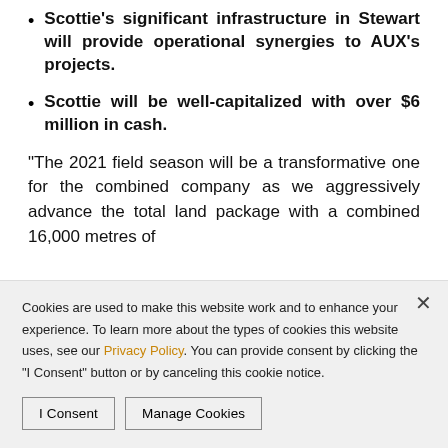Scottie's significant infrastructure in Stewart will provide operational synergies to AUX's projects.
Scottie will be well-capitalized with over $6 million in cash.
“The 2021 field season will be a transformative one for the combined company as we aggressively advance the total land package with a combined 16,000 metres of
Cookies are used to make this website work and to enhance your experience. To learn more about the types of cookies this website uses, see our Privacy Policy. You can provide consent by clicking the "I Consent" button or by canceling this cookie notice.